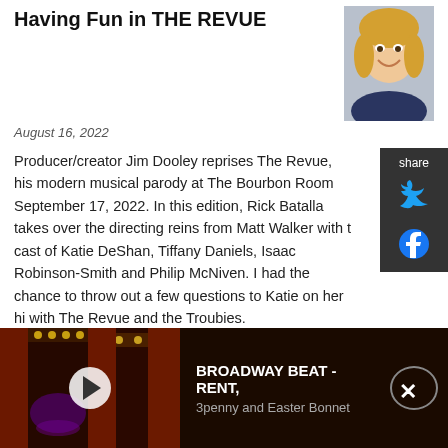Having Fun in THE REVUE
August 16, 2022
[Figure (photo): Headshot of smiling blonde woman]
Producer/creator Jim Dooley reprises The Revue, his modern musical parody at The Bourbon Room September 17, 2022. In this edition, Rick Batalla takes over the directing reins from Matt Walker with the cast of Katie DeShan, Tiffany Daniels, Isaac Robinson-Smith and Philip McNiven. I had the chance to throw out a few questions to Katie on her history with The Revue and the Troubies.
Interview: Funny Lady Allison Dunbar's Planting The Flag for SISTER GROUNDLING: MY COMEDY, MY CHOICE
[Figure (photo): Headshot of blonde woman smiling]
[Figure (screenshot): Video player bar showing theater stage thumbnail with Broadway Beat - RENT, 3penny and Easter Bonnet title and close button]